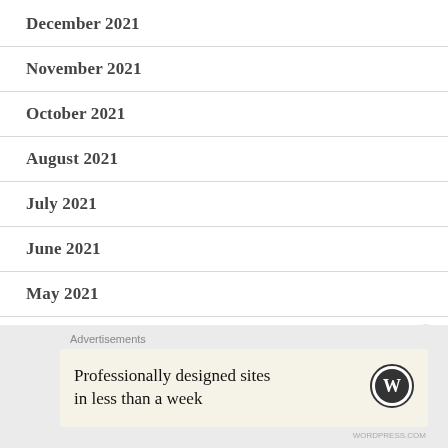December 2021
November 2021
October 2021
August 2021
July 2021
June 2021
May 2021
April 2021
March 2021
Advertisements
Professionally designed sites in less than a week